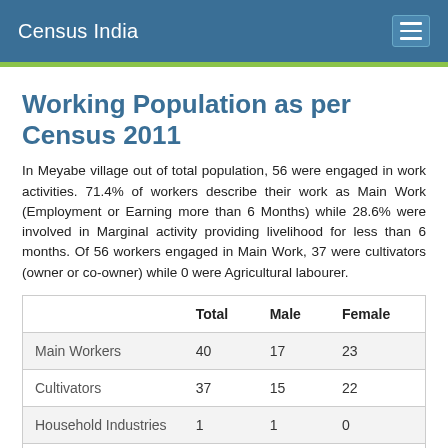Census India
Working Population as per Census 2011
In Meyabe village out of total population, 56 were engaged in work activities. 71.4% of workers describe their work as Main Work (Employment or Earning more than 6 Months) while 28.6% were involved in Marginal activity providing livelihood for less than 6 months. Of 56 workers engaged in Main Work, 37 were cultivators (owner or co-owner) while 0 were Agricultural labourer.
|  | Total | Male | Female |
| --- | --- | --- | --- |
| Main Workers | 40 | 17 | 23 |
| Cultivators | 37 | 15 | 22 |
| Household Industries | 1 | 1 | 0 |
| Other Workers | 2 | 1 | 1 |